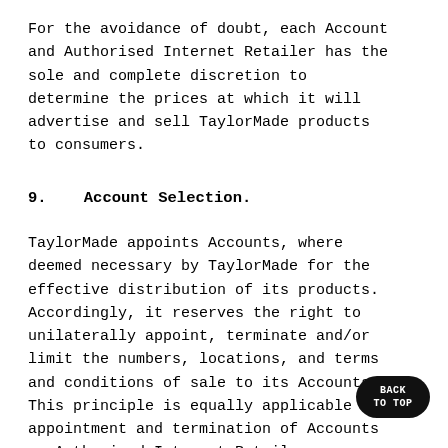For the avoidance of doubt, each Account and Authorised Internet Retailer has the sole and complete discretion to determine the prices at which it will advertise and sell TaylorMade products to consumers.
9.    Account Selection.
TaylorMade appoints Accounts, where deemed necessary by TaylorMade for the effective distribution of its products. Accordingly, it reserves the right to unilaterally appoint, terminate and/or limit the numbers, locations, and terms and conditions of sale to its Accounts. This principle is equally applicable to the appointment and termination of Accounts as Authorised Internet Retailers.